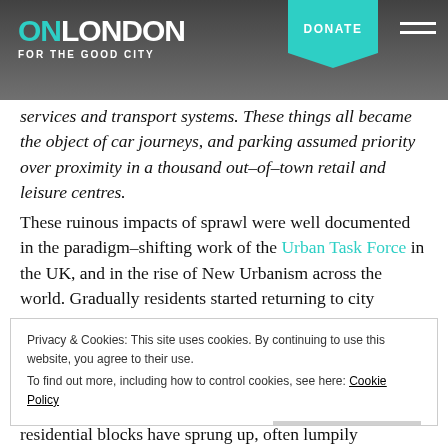ON LONDON — FOR THE GOOD CITY | DONATE
services and transport systems. These things all became the object of car journeys, and parking assumed priority over proximity in a thousand out-of-town retail and leisure centres.
These ruinous impacts of sprawl were well documented in the paradigm-shifting work of the Urban Task Force in the UK, and in the rise of New Urbanism across the world. Gradually residents started returning to city centres (big businesses had never really moved out, following
Privacy & Cookies: This site uses cookies. By continuing to use this website, you agree to their use.
To find out more, including how to control cookies, see here: Cookie Policy
Close and accept
residential blocks have sprung up, often lumpily